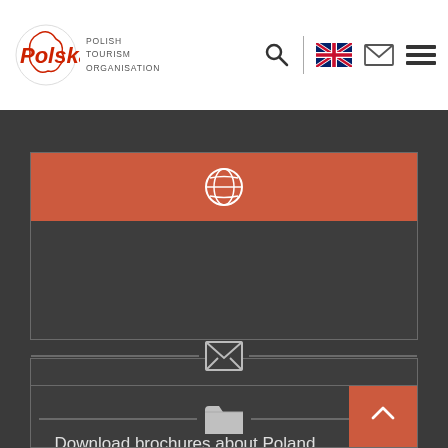[Figure (screenshot): Polish Tourism Organisation website header with logo, search icon, divider, UK flag, envelope icon, and hamburger menu]
[Figure (screenshot): Dark card section with orange/salmon background banner containing a globe icon]
[Figure (screenshot): Dark card section with envelope/newsletter icon and text 'Subscribe to our newsletter']
[Figure (screenshot): Dark card section with folder icon and text 'Download brochures about Poland', with salmon back-to-top button]